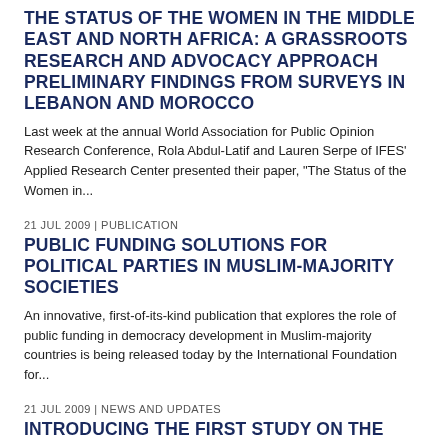THE STATUS OF THE WOMEN IN THE MIDDLE EAST AND NORTH AFRICA: A GRASSROOTS RESEARCH AND ADVOCACY APPROACH PRELIMINARY FINDINGS FROM SURVEYS IN LEBANON AND MOROCCO
Last week at the annual World Association for Public Opinion Research Conference, Rola Abdul-Latif and Lauren Serpe of IFES' Applied Research Center presented their paper, "The Status of the Women in...
21 JUL 2009 | PUBLICATION
PUBLIC FUNDING SOLUTIONS FOR POLITICAL PARTIES IN MUSLIM-MAJORITY SOCIETIES
An innovative, first-of-its-kind publication that explores the role of public funding in democracy development in Muslim-majority countries is being released today by the International Foundation for...
21 JUL 2009 | NEWS AND UPDATES
INTRODUCING THE FIRST STUDY ON THE